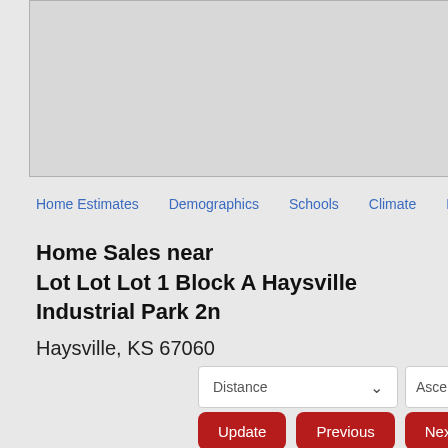[Figure (other): Map area showing a gray placeholder region for a property map]
Home Estimates   Demographics   Schools   Climate   Hou
Home Sales near
Lot Lot Lot 1 Block A Haysville Industrial Park 2n
Haysville, KS 67060
[Figure (other): Distance dropdown selector with chevron]
[Figure (other): Ascending order dropdown selector]
Update   Previous   Next